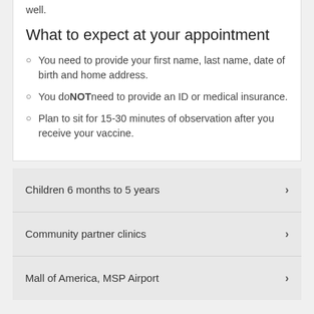well.
What to expect at your appointment
You need to provide your first name, last name, date of birth and home address.
You do NOT need to provide an ID or medical insurance.
Plan to sit for 15-30 minutes of observation after you receive your vaccine.
Children 6 months to 5 years
Community partner clinics
Mall of America, MSP Airport